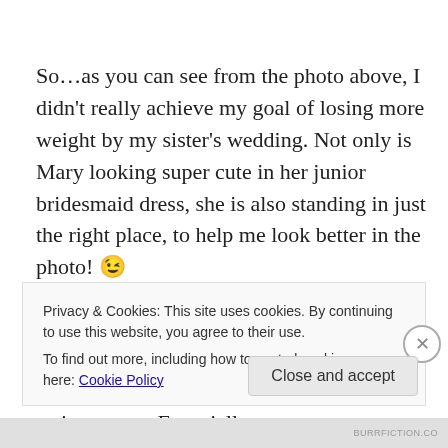So…as you can see from the photo above, I didn't really achieve my goal of losing more weight by my sister's wedding. Not only is Mary looking super cute in her junior bridesmaid dress, she is also standing in just the right place, to help me look better in the photo! 😉
I am frustrated, as is my trainer. I am working out hard every week. But this is just more proof that the food component is so important. Especially once you are over a certain age. I heard a very depressing report on NPR a
Privacy & Cookies: This site uses cookies. By continuing to use this website, you agree to their use.
To find out more, including how to control cookies, see here: Cookie Policy
Close and accept